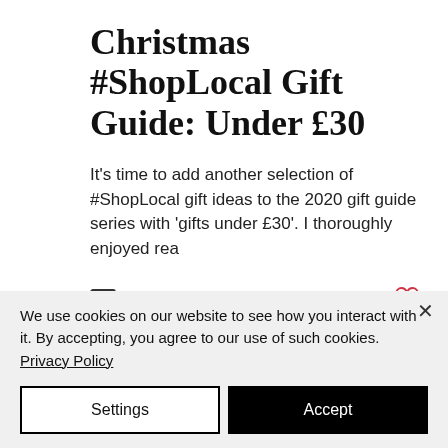Christmas #ShopLocal Gift Guide: Under £30
It's time to add another selection of #ShopLocal gift ideas to the 2020 gift guide series with 'gifts under £30'. I thoroughly enjoyed rea
We use cookies on our website to see how you interact with it. By accepting, you agree to our use of such cookies. Privacy Policy